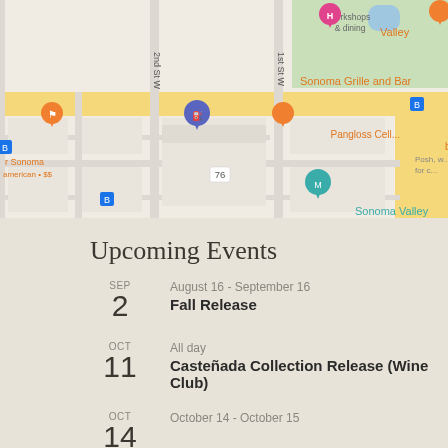[Figure (map): Google Maps view showing area around Best Western Sonoma Valley Inn, with Sonoma Grille and Bar, Pangloss Cellars by Prior Re..., Sonoma Valley marker, street labels (2nd St W, 1st St W), bus stop icons, and a highlighted yellow route.]
Upcoming Events
SEP 2 — August 16 - September 16 — Fall Release
OCT 11 — All day — Casteñada Collection Release (Wine Club)
OCT 14 — October 14 - October 15